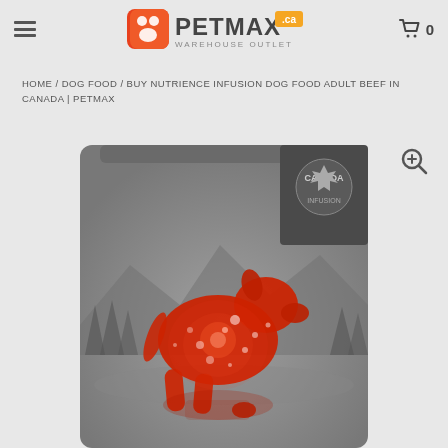PETMAX.ca Warehouse Outlet - menu and cart
HOME / DOG FOOD / BUY NUTRIENCE INFUSION DOG FOOD ADULT BEEF IN CANADA | PETMAX
[Figure (photo): Product shot of Nutrience Infusion dog food bag — dark grey metallic bag with a red silhouette of a dog with glowing light particles, set against a winter forest/mountain backdrop. A grey banner at top-right shows a maple leaf badge. The product image is cropped showing mostly the lower 2/3 of the bag.]